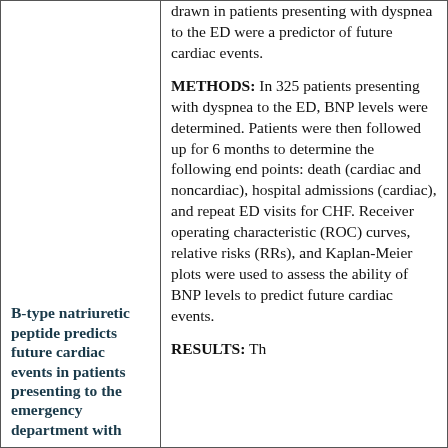drawn in patients presenting with dyspnea to the ED were a predictor of future cardiac events.
METHODS: In 325 patients presenting with dyspnea to the ED, BNP levels were determined. Patients were then followed up for 6 months to determine the following end points: death (cardiac and noncardiac), hospital admissions (cardiac), and repeat ED visits for CHF. Receiver operating characteristic (ROC) curves, relative risks (RRs), and Kaplan-Meier plots were used to assess the ability of BNP levels to predict future cardiac events.
B-type natriuretic peptide predicts future cardiac events in patients presenting to the emergency department with
RESULTS: Th